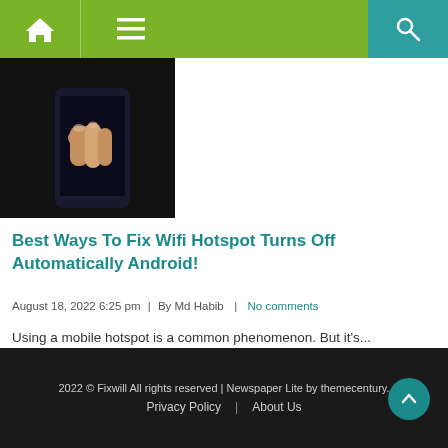Fixwill - home, menu, search navigation bar
[Figure (photo): Close-up of a hand touching a smartphone screen, dark background]
Best Ways To Fix Wifi Hotspot Turns Off Automatically Android!
August 18, 2022 6:25 pm | By Md Habib | No comments
Using a mobile hotspot is a common phenomenon. But it's...
Read more →
Posted in: Android
2022 © Fixwill All rights reserved | Newspaper Lite by themecentury. Privacy Policy | About Us